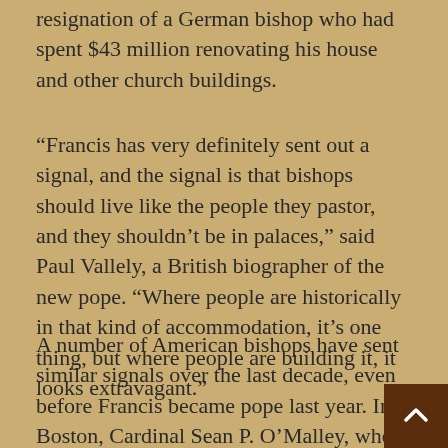resignation of a German bishop who had spent $43 million renovating his house and other church buildings.
“Francis has very definitely sent out a signal, and the signal is that bishops should live like the people they pastor, and they shouldn’t be in palaces,” said Paul Vallely, a British biographer of the new pope. “Where people are historically in that kind of accommodation, it’s one thing, but where people are building it, it looks extravagant.”
A number of American bishops have sent similar signals over the last decade, even before Francis became pope last year. In Boston, Cardinal Sean P. O’Malley, who is now the pope’s closest American adviser, began his tenure by selling the Italianate palazzo that had housed his predecessors and moving into a shabby cathedral rectory. In Philadelphia,